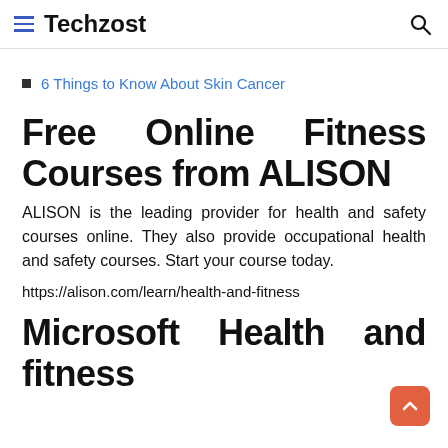Techzost
6 Things to Know About Skin Cancer
Free Online Fitness Courses from ALISON
ALISON is the leading provider for health and safety courses online. They also provide occupational health and safety courses. Start your course today.
https://alison.com/learn/health-and-fitness
Microsoft Health and fitness